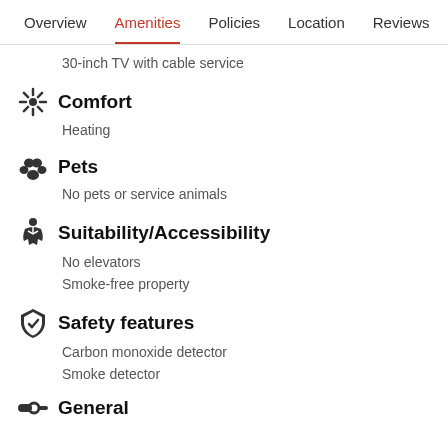Overview  Amenities  Policies  Location  Reviews
30-inch TV with cable service
Comfort
Heating
Pets
No pets or service animals
Suitability/Accessibility
No elevators
Smoke-free property
Safety features
Carbon monoxide detector
Smoke detector
General